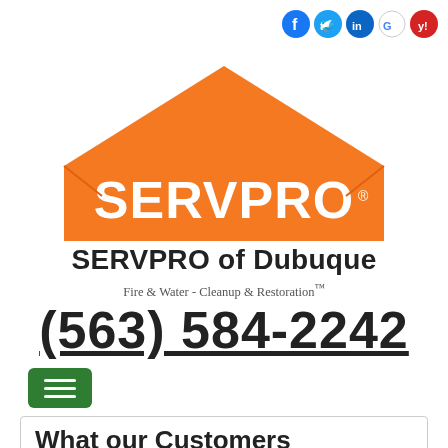[Figure (logo): SERVPRO social media icons: Facebook, Twitter, LinkedIn, Google, Yelp]
[Figure (logo): SERVPRO house-shaped orange logo with white SERVPRO text]
SERVPRO of Dubuque
Fire & Water - Cleanup & Restoration™
(563) 584-2242
[Figure (other): Green hamburger menu button]
What our Customers